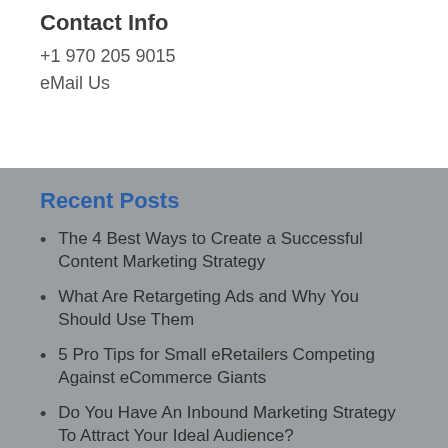Contact Info
+1 970 205 9015
eMail Us
Recent Posts
The 4 Best Ways to Create a Successful Content Marketing Strategy
What Are Retargeting Ads and Why You Should Use Them
5 Pro Tips for Small eRetailers Competing Against eCommerce Giants
Do You Have An Inbound Marketing Strategy To Attract Your Ideal Audience?